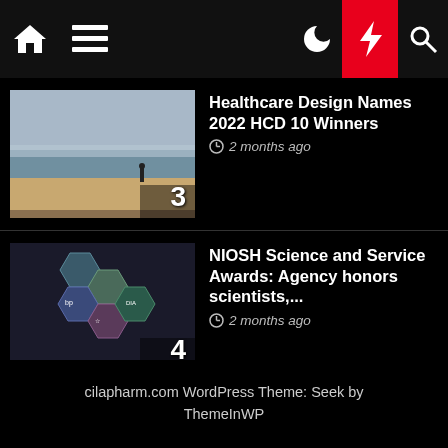Navigation bar with home, menu, dark mode, lightning/breaking, and search icons
[Figure (screenshot): Beach scene thumbnail with person walking, numbered 3]
Healthcare Design Names 2022 HCD 10 Winners
2 months ago
[Figure (screenshot): Hexagonal diagram with logos (BP, DIA, etc.), numbered 4]
NIOSH Science and Service Awards: Agency honors scientists,...
2 months ago
[Figure (screenshot): Industrial machinery/tractor in icy/blue scene, numbered 5]
Leveraging wearables to improve worker safety | 2022-06-08
3 months ago
cilapharm.com WordPress Theme: Seek by ThemeInWP